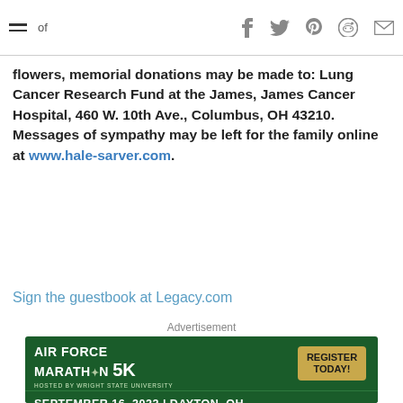of  [social icons: facebook, twitter, pinterest, reddit, email]
flowers, memorial donations may be made to: Lung Cancer Research Fund at the James, James Cancer Hospital, 460 W. 10th Ave., Columbus, OH 43210. Messages of sympathy may be left for the family online at www.hale-sarver.com.
Sign the guestbook at Legacy.com
Advertisement
[Figure (photo): Air Force Marathon 5K advertisement banner. Green background. Text: AIR FORCE MARATHON 5K, HOSTED BY WRIGHT STATE UNIVERSITY, REGISTER TODAY!, SEPTEMBER 16, 2022 | DAYTON, OH. Photo of runners at the bottom.]